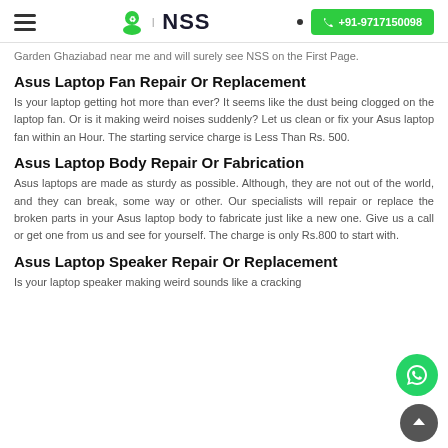NSS | +91-9717150098
Garden Ghaziabad near me and will surely see NSS on the First Page.
Asus Laptop Fan Repair Or Replacement
Is your laptop getting hot more than ever? It seems like the dust being clogged on the laptop fan. Or is it making weird noises suddenly? Let us clean or fix your Asus laptop fan within an Hour. The starting service charge is Less Than Rs. 500.
Asus Laptop Body Repair Or Fabrication
Asus laptops are made as sturdy as possible. Although, they are not out of the world, and they can break, some way or other. Our specialists will repair or replace the broken parts in your Asus laptop body to fabricate just like a new one. Give us a call or get one from us and see for yourself. The charge is only Rs.800 to start with.
Asus Laptop Speaker Repair Or Replacement
Is your laptop speaker making weird sounds like a cracking